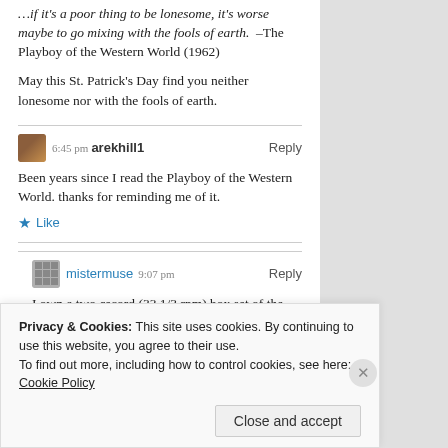…if it's a poor thing to be lonesome, it's worse maybe to go mixing with the fools of earth. –The Playboy of the Western World (1962)
May this St. Patrick's Day find you neither lonesome nor with the fools of earth.
6:45 pm arekhill1 Reply
Been years since I read the Playboy of the Western World. thanks for reminding me of it.
★ Like
mistermuse 9:07 pm Reply
I own a two-record (33 1/3 rpm) box set of the play recorded by Cyril Cusack (who played the
Privacy & Cookies: This site uses cookies. By continuing to use this website, you agree to their use.
To find out more, including how to control cookies, see here: Cookie Policy
Close and accept